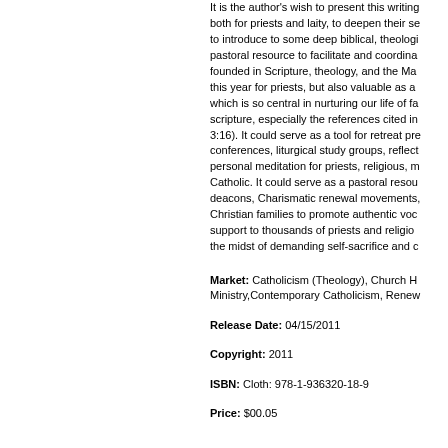It is the author's wish to present this writing both for priests and laity, to deepen their se to introduce to some deep biblical, theologi pastoral resource to facilitate and coordina founded in Scripture, theology, and the Ma this year for priests, but also valuable as a which is so central in nurturing our life of fa scripture, especially the references cited in 3:16). It could serve as a tool for retreat pre conferences, liturgical study groups, reflect personal meditation for priests, religious, m Catholic. It could serve as a pastoral resou deacons, Charismatic renewal movements, Christian families to promote authentic voc support to thousands of priests and religio the midst of demanding self-sacrifice and c
Market:  Catholicism (Theology), Church H Ministry,Contemporary Catholicism, Renew
Release Date:  04/15/2011
Copyright:  2011
ISBN:  Cloth: 978-1-936320-18-9
Price:  $00.05